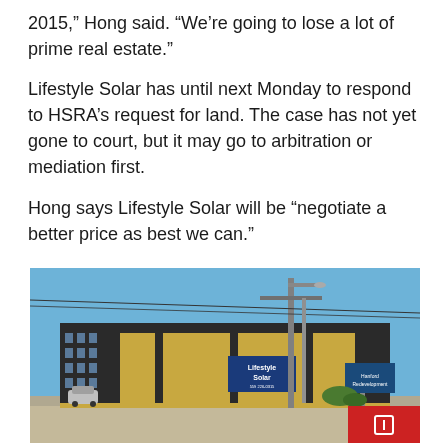2015,” Hong said. “We’re going to lose a lot of prime real estate.”
Lifestyle Solar has until next Monday to respond to HSRA’s request for land. The case has not yet gone to court, but it may go to arbitration or mediation first.
Hong says Lifestyle Solar will be “negotiate a better price as best we can.”
[Figure (photo): Exterior photo of a commercial building with yellow and dark panels featuring a 'Lifestyle Solar' sign, with utility poles visible in the foreground, blue sky, and a red button/overlay in the lower right corner.]